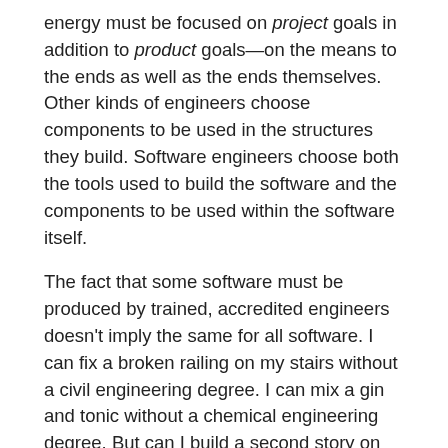energy must be focused on project goals in addition to product goals—on the means to the ends as well as the ends themselves. Other kinds of engineers choose components to be used in the structures they build. Software engineers choose both the tools used to build the software and the components to be used within the software itself.
The fact that some software must be produced by trained, accredited engineers doesn't imply the same for all software. I can fix a broken railing on my stairs without a civil engineering degree. I can mix a gin and tonic without a chemical engineering degree. But can I build a second story on my house? No. My local government will require me to have an engineer sign the building plans. We should eventually see a similar stratification of software jobs into amateurs, skilled craftsmen, and engineers.